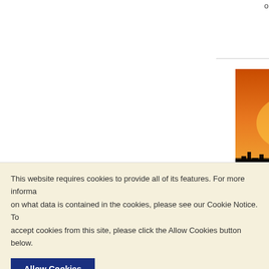online w...
[Figure (photo): Book cover of 'Living (World) Heritage Cities' showing a silhouette of a city with mosques and minarets against an orange/red sunset sky]
Living (World) Heritage Cities: perspectives of people...
Dr Maaik... Jinadasa...
Regular
Special
ISBN: 97... Publisher... Cities are... their com... interests...
Living (
This website requires cookies to provide all of its features. For more informa on what data is contained in the cookies, please see our Cookie Notice. To accept cookies from this site, please click the Allow Cookies button below.
Allow Cookies